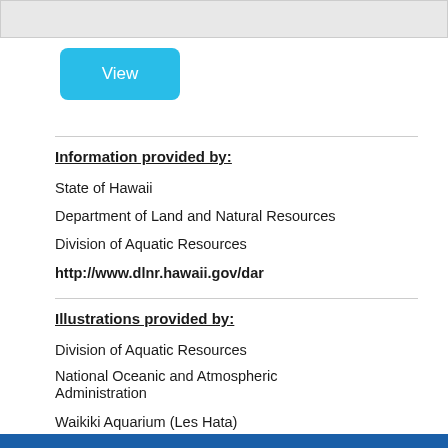[Figure (screenshot): Gray bar at top of page, partial screenshot element]
[Figure (screenshot): Blue 'View' button]
Information provided by:
State of Hawaii
Department of Land and Natural Resources
Division of Aquatic Resources
http://www.dlnr.hawaii.gov/dar
Illustrations provided by:
Division of Aquatic Resources
National Oceanic and Atmospheric Administration
Waikiki Aquarium (Les Hata)